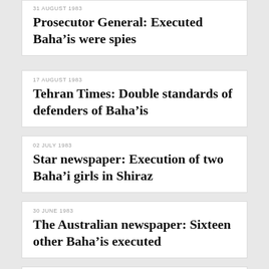31 AUGUST 1983
Prosecutor General: Executed Baha’is were spies
17 AUGUST 1983
Tehran Times: Double standards of defenders of Baha’is
02 JULY 1983
Star newspaper: Execution of two Baha’i girls in Shiraz
30 JUNE 1983
The Australian newspaper: Sixteen other Baha’is executed
30 JUNE 1983
Ahmad-Ali Sahet-Sarvestani - Died after his